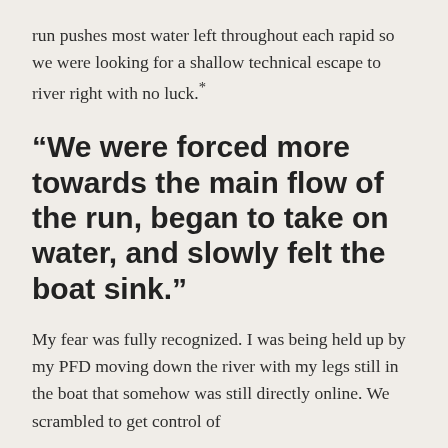run pushes most water left throughout each rapid so we were looking for a shallow technical escape to river right with no luck.*
“We were forced more towards the main flow of the run, began to take on water, and slowly felt the boat sink.”
My fear was fully recognized. I was being held up by my PFD moving down the river with my legs still in the boat that somehow was still directly online. We scrambled to get control of